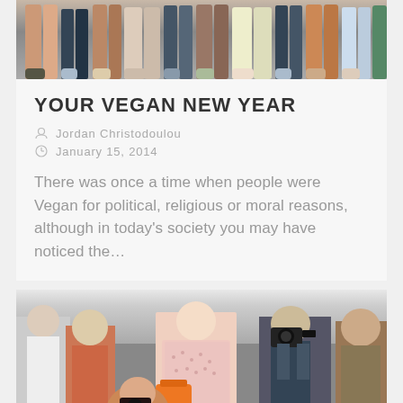[Figure (photo): Crowd of people photographed from below, showing legs and feet in various outfits]
YOUR VEGAN NEW YEAR
Jordan Christodoulou
January 15, 2014
There was once a time when people were Vegan for political, religious or moral reasons, although in today's society you may have noticed the…
[Figure (photo): Street fashion crowd scene with a woman in a pink patterned outfit at center, surrounded by photographers and bystanders]